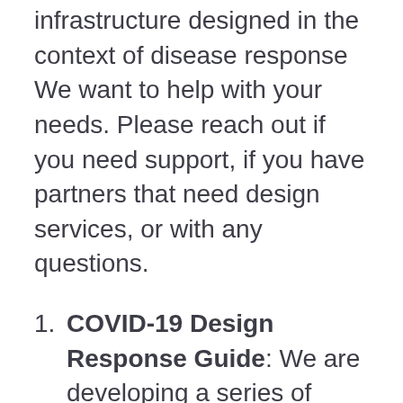infrastructure designed in the context of disease response We want to help with your needs. Please reach out if you need support, if you have partners that need design services, or with any questions.
COVID-19 Design Response Guide: We are developing a series of guides, available to all, that will include tips for homeowners, builders, and designers on how to retrofit